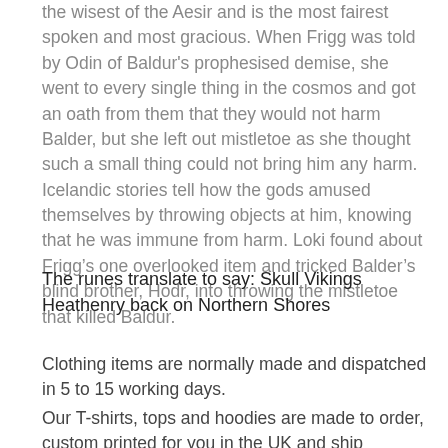the wisest of the Aesir and is the most fairest spoken and most gracious. When Frigg was told by Odin of Baldur's prophesised demise, she went to every single thing in the cosmos and got an oath from them that they would not harm Balder, but she left out mistletoe as she thought such a small thing could not bring him any harm. Icelandic stories tell how the gods amused themselves by throwing objects at him, knowing that he was immune from harm. Loki found about Frigg's one overlooked item and tricked Balder's blind brother, Hodr, into throwing the mistletoe that killed Baldur.
The runes translate to say: Skull Vikings Heathenry back on Northern Shores
Clothing items are normally made and dispatched in 5 to 15 working days.
Our T-shirts, tops and hoodies are made to order, custom printed for you in the UK and ship separately to our jewelry